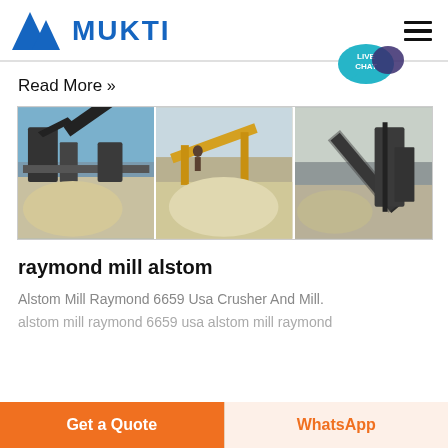MUKTI
Read More »
[Figure (photo): Three side-by-side photos of industrial mining/crushing equipment with conveyor belts and aggregate piles in outdoor quarry settings]
raymond mill alstom
Alstom Mill Raymond 6659 Usa Crusher And Mill.
alstom mill raymond 6659 usa alstom mill raymond
Get a Quote
WhatsApp